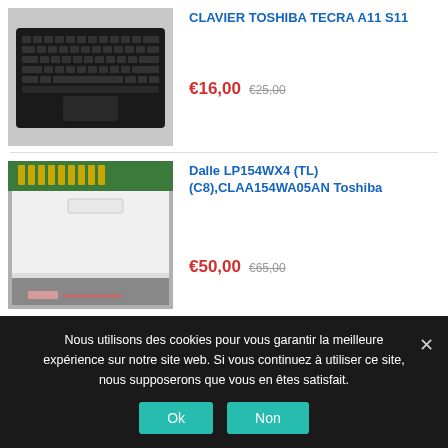[Figure (photo): Photo of a black Toshiba laptop keyboard]
CLAVIER TOSHIBA TECRA A11 S11
€16,00  €25,00
[Figure (photo): Photo of an LCD display panel (Dalle LP154WX4)]
Dalle LP154WX4 (TL)(C8),CLAA154WA05AN Toshiba
€50,00  €65,00
Nous utilisons des cookies pour vous garantir la meilleure expérience sur notre site web. Si vous continuez à utiliser ce site, nous supposerons que vous en êtes satisfait.